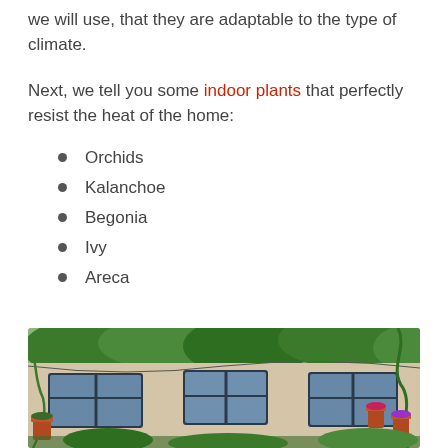we will use, that they are adaptable to the type of climate.
Next, we tell you some indoor plants that perfectly resist the heat of the home:
Orchids
Kalanchoe
Begonia
Ivy
Areca
[Figure (photo): A building facade covered with climbing plants and vines, with multiple windows and terracotta pots with flowers and plants hanging on the walls.]